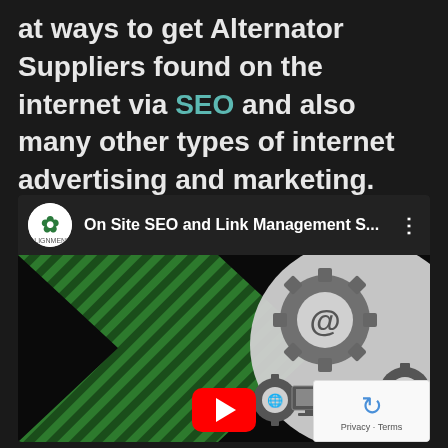at ways to get Alternator Suppliers found on the internet via SEO and also many other types of internet advertising and marketing.
[Figure (screenshot): YouTube video embed thumbnail showing 'On Site SEO and Link Management S...' with Alignment agency channel icon, green diagonal striped arrow graphic, gear icons with @ symbol, and a YouTube play button. A reCAPTCHA widget overlay is visible in the bottom right corner.]